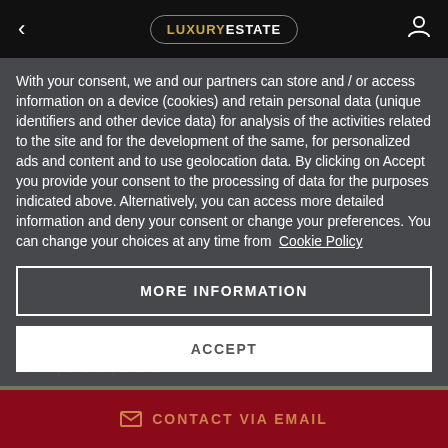< LUXURYESTATE (user icon)
With your consent, we and our partners can store and / or access information on a device (cookies) and retain personal data (unique identifiers and other device data) for analysis of the activities related to the site and for the development of the same, for personalized ads and content and to use geolocation data. By clicking on Accept you provide your consent to the processing of data for the purposes indicated above. Alternatively, you can access more detailed information and deny your consent or change your preferences. You can change your choices at any time from Cookie Policy
MORE INFORMATION
ACCEPT
€ 4,500,000
CONTACT VIA EMAIL